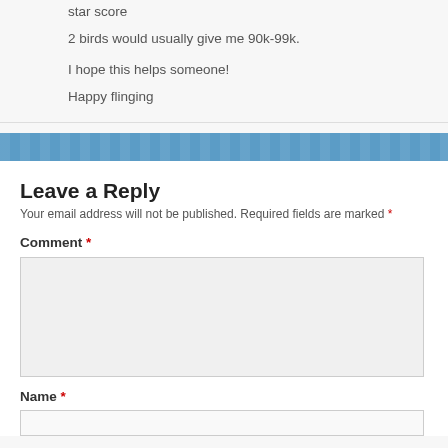star score
2 birds would usually give me 90k-99k.

I hope this helps someone!
Happy flinging
Leave a Reply
Your email address will not be published. Required fields are marked *
Comment *
Name *